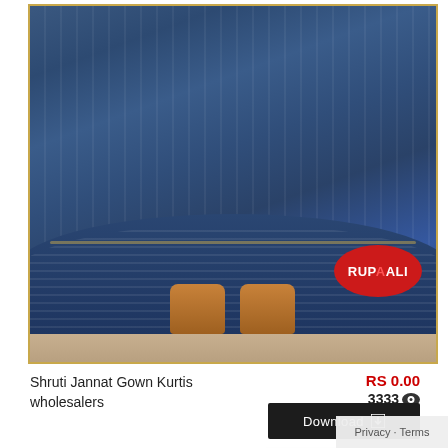[Figure (photo): Photo of a navy blue pleated gown/kurti with ruffled hem, worn by a model. The lower half of the dress is visible with brown sandals. A red circular RUPAALI brand logo is visible in the bottom right of the image. The image has a gold border.]
Shruti Jannat Gown Kurtis wholesalers
RS 0.00
3333
Download
[Figure (photo): Partially visible second product card showing a pink/maroon textured fabric or garment photo with gold border.]
WhatApp us
Privacy · Terms